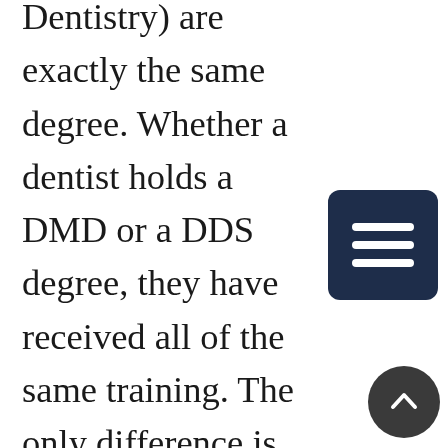Dentistry) are exactly the same degree. Whether a dentist holds a DMD or a DDS degree, they have received all of the same training. The only difference is that some universities choose to call their dental degree DDS & some choose DMD.

So, for example, if Dr. John Smith received his DMD from the University of Pennsylvania & Dr. Jane Doe earned here DDS from UCLA, both doctors received the